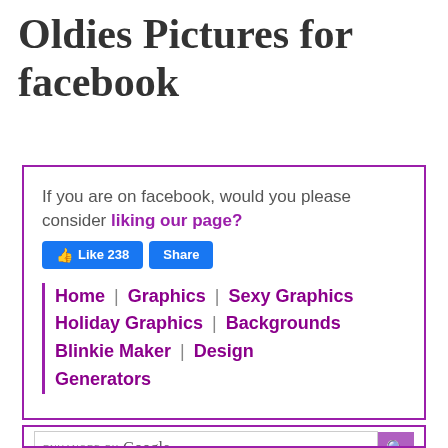Oldies Pictures for facebook
If you are on facebook, would you please consider liking our page?
[Figure (screenshot): Facebook Like (238) and Share buttons]
Home | Graphics | Sexy Graphics | Holiday Graphics | Backgrounds | Blinkie Maker | Design Generators
[Figure (screenshot): Google search box with enhanced by Google label and purple search button]